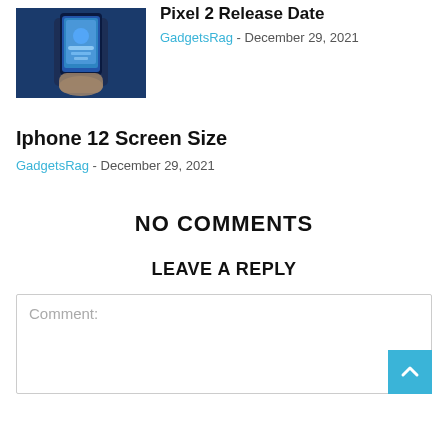[Figure (photo): Hand holding a smartphone with a colorful screen, dark blue background]
Pixel 2 Release Date
GadgetsRag - December 29, 2021
Iphone 12 Screen Size
GadgetsRag - December 29, 2021
NO COMMENTS
LEAVE A REPLY
Comment: